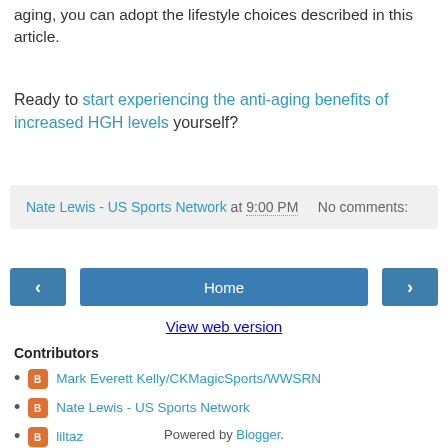aging, you can adopt the lifestyle choices described in this article.
Ready to start experiencing the anti-aging benefits of increased HGH levels yourself?
Nate Lewis - US Sports Network at 9:00 PM   No comments:
[Figure (other): Navigation buttons: left arrow, Home, right arrow]
View web version
Contributors
Mark Everett Kelly/CKMagicSports/WWSRN
Nate Lewis - US Sports Network
liltaz
Powered by Blogger.